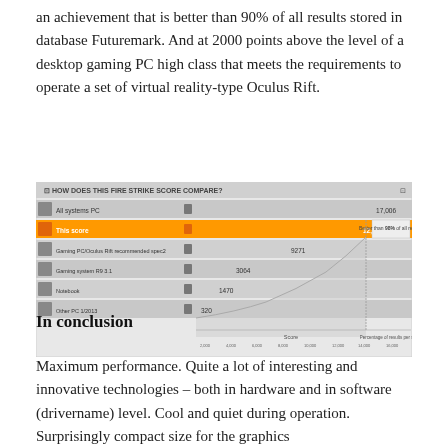an achievement that is better than 90% of all results stored in database Futuremark. And at 2000 points above the level of a desktop gaming PC high class that meets the requirements to operate a set of virtual reality-type Oculus Rift.
[Figure (screenshot): Screenshot of Futuremark Fire Strike score comparison chart showing 'This score' bar highlighted in orange at ~12868, compared to other systems. Label reads 'Better than 98% of all results'. Other entries include scores of 9271, 3064, 1470, 320.]
In conclusion
Maximum performance. Quite a lot of interesting and innovative technologies – both in hardware and in software (drivername) level. Cool and quiet during operation. Surprisingly compact size for the graphics